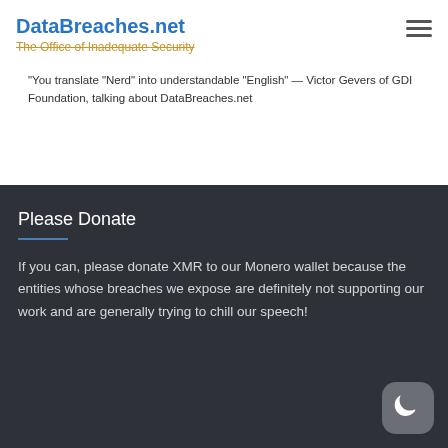DataBreaches.net — The Office of Inadequate Security
“You translate “Nerd” into understandable “English” — Victor Gevers of GDI Foundation, talking about DataBreaches.net
Please Donate
If you can, please donate XMR to our Monero wallet because the entities whose breaches we expose are definitely not supporting our work and are generally trying to chill our speech!